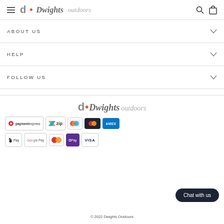Dwights outdoors — navigation header with hamburger menu, logo, search and bag icons
ABOUT US
HELP
FOLLOW US
[Figure (logo): Dwights outdoors logo — stylized d with orange dot, italic text]
[Figure (infographic): Payment method badges: paymentexpress, zip, Eftpos/Mastercard coloured, Amex, Apple Pay, Google Pay, Mastercard, OPay, Visa]
Chat with us
© 2022 Dwights Outdoors